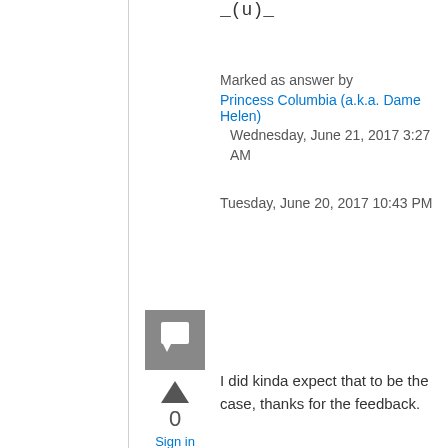_(u)_
Marked as answer by
Princess Columbia (a.k.a. Dame Helen)
Wednesday, June 21, 2017 3:27 AM
Tuesday, June 20, 2017 10:43 PM
[Figure (other): User avatar placeholder icon - grey square with speech bubble]
0
Sign in to vote
I did kinda expect that to be the case, thanks for the feedback.